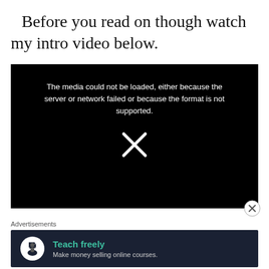Before you read on though watch my intro video below.
[Figure (screenshot): A black video player showing an error message: 'The media could not be loaded, either because the server or network failed or because the format is not supported.' with a large X icon in the center.]
Advertisements
[Figure (other): Advertisement banner with dark background showing a white circle logo with a person/tree icon, green bold text 'Teach freely' and gray subtext 'Make money selling online courses.']